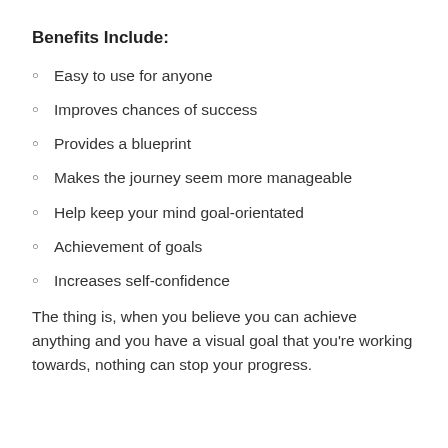Benefits Include:
Easy to use for anyone
Improves chances of success
Provides a blueprint
Makes the journey seem more manageable
Help keep your mind goal-orientated
Achievement of goals
Increases self-confidence
The thing is, when you believe you can achieve anything and you have a visual goal that you’re working towards, nothing can stop your progress.